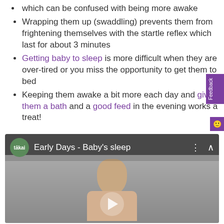which can be confused with being more awake
Wrapping them up (swaddling) prevents them from frightening themselves with the startle reflex which last for about 3 minutes
Getting baby to sleep is more difficult when they are over-tired or you miss the opportunity to get them to bed
Keeping them awake a bit more each day and giving them a bath and a good feed in the evening works a treat!
[Figure (screenshot): Video thumbnail showing a person sitting on a couch, with overlay title bar reading 'Early Days - Baby's sleep' and the Takai logo badge. A play button is visible at the bottom center.]